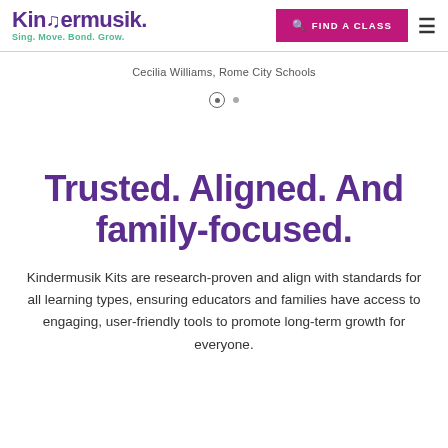Kindermusik — Sing. Move. Bond. Grow. | FIND A CLASS
Cecilia Williams, Rome City Schools
Trusted. Aligned. And family-focused.
Kindermusik Kits are research-proven and align with standards for all learning types, ensuring educators and families have access to engaging, user-friendly tools to promote long-term growth for everyone.